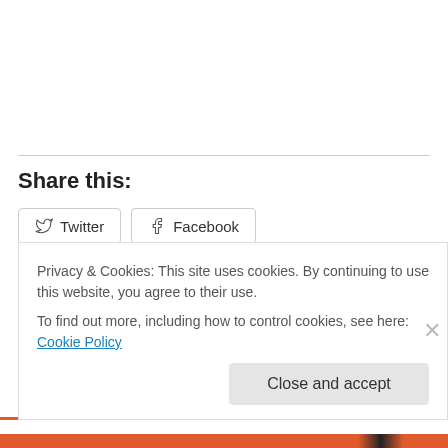Share this:
Twitter
Facebook
Like
One blogger likes this.
Privacy & Cookies: This site uses cookies. By continuing to use this website, you agree to their use. To find out more, including how to control cookies, see here: Cookie Policy
Close and accept